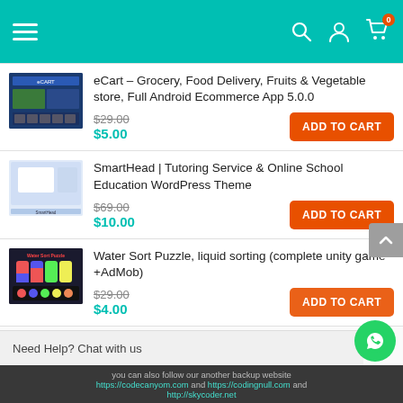[Figure (screenshot): App navigation header bar with teal background, hamburger menu, search, user, and cart icons with badge showing 0]
eCart – Grocery, Food Delivery, Fruits & Vegetable store, Full Android Ecommerce App 5.0.0
$29.00 $5.00 ADD TO CART
SmartHead | Tutoring Service & Online School Education WordPress Theme
$69.00 $10.00 ADD TO CART
Water Sort Puzzle, liquid sorting (complete unity game +AdMob)
$29.00 $4.00 ADD TO CART
Need Help? Chat with us
you can also follow our another backup website https://codecanyom.com and https://codingnull.com and http://skycoder.net